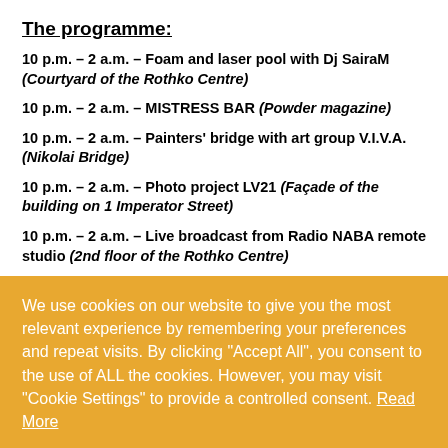The programme:
10 p.m. – 2 a.m. – Foam and laser pool with Dj SairaM (Courtyard of the Rothko Centre)
10 p.m. – 2 a.m. – MISTRESS BAR (Powder magazine)
10 p.m. – 2 a.m. – Painters' bridge with art group V.I.V.A. (Nikolai Bridge)
10 p.m. – 2 a.m. – Photo project LV21 (Façade of the building on 1 Imperator Street)
10 p.m. – 2 a.m. – Live broadcast from Radio NABA remote studio (2nd floor of the Rothko Centre)
We use cookies on our website to give you the most relevant experience by remembering your preferences and repeat visits. By clicking "Accept All", you consent to the use of ALL the cookies. However, you may visit "Cookie Settings" to provide a controlled consent. Read More